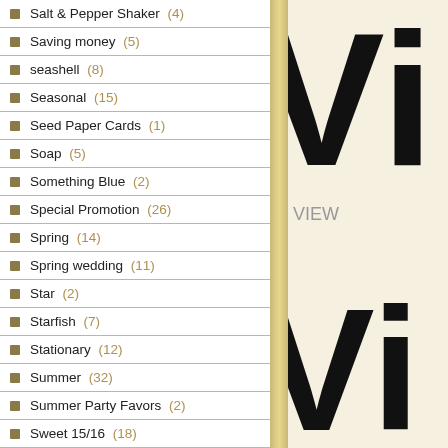Salt & Pepper Shaker (4)
Saving money (5)
seashell (8)
Seasonal (15)
Seed Paper Cards (1)
Soap (5)
Something Blue (2)
Special Promotion (26)
Spring (14)
Spring wedding (11)
Star (2)
Starfish (7)
Stationary (12)
Summer (32)
Summer Party Favors (2)
Sweet 15/16 (18)
Tape measure (3)
[Figure (other): Large partial letter 'Vi' visible on right side of page, top portion]